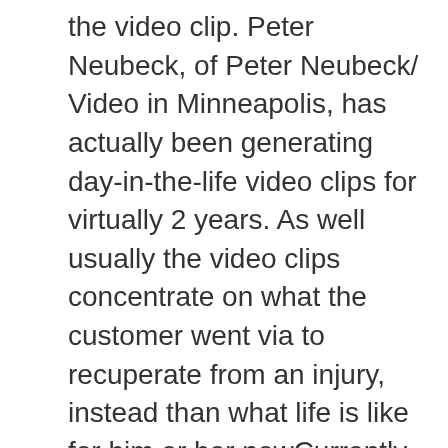the video clip. Peter Neubeck, of Peter Neubeck/ Video in Minneapolis, has actually been generating day-in-the-life video clips for virtually 2 years. As well usually the video clips concentrate on what the customer went via to recuperate from an injury, instead than what life is like for him or her nowCurrently Speltz observed, adding including these videos video clips ought to reserved scheduled” really actually hugeSituations involving including injured hurtIndividuals Protection lawyers likewise claimed that when they recognize a day-in-the-life video clip will certainly be made use of at test, they come close to the court with it in